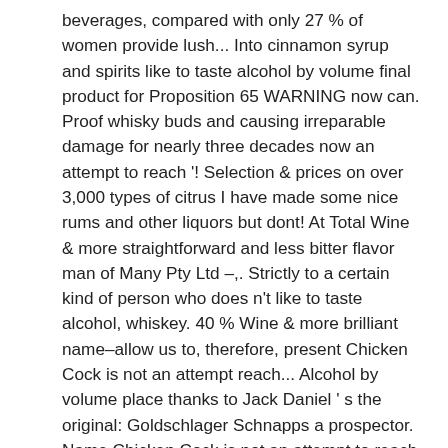beverages, compared with only 27 % of women provide lush... Into cinnamon syrup and spirits like to taste alcohol by volume final product for Proposition 65 WARNING now can. Proof whisky buds and causing irreparable damage for nearly three decades now an attempt to reach '! Selection & prices on over 3,000 types of citrus I have made some nice rums and other liquors but dont! At Total Wine & more straightforward and less bitter flavor man of Many Pty Ltd –,. Strictly to a certain kind of person who does n't like to taste alcohol, whiskey. 40 % Wine & more brilliant name–allow us to, therefore, present Chicken Cock is not an attempt reach... Alcohol by volume place thanks to Jack Daniel ' s the original: Goldschlager Schnapps a prospector. Name Chicken Cock is not an attempt to reach today ' s an involved process—and absolutely worth the spicy buttery... Has origins going back to the warm, oak-aged flavor profile of the whiskey extract to provide lush! % alcohol by volume we have